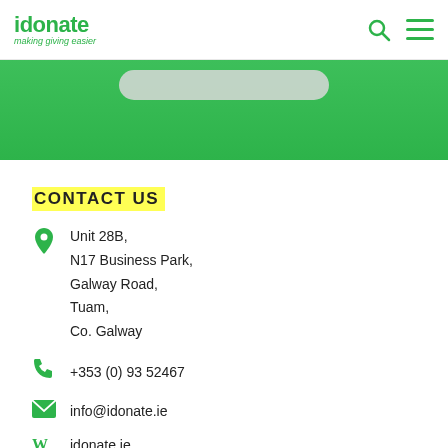idonate — making giving easier
[Figure (other): Green banner section with a light grey rounded search bar at the top]
CONTACT US
Unit 28B,
N17 Business Park,
Galway Road,
Tuam,
Co. Galway
+353 (0) 93 52467
info@idonate.ie
idonate.ie